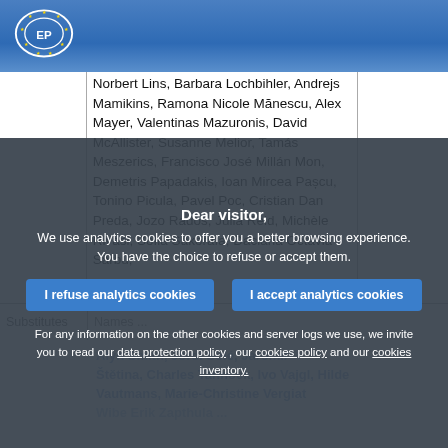European Parliament header with logo
|  | Members |  |
| --- | --- | --- |
|  | Norbert Lins, Barbara Lochbihler, Andrejs Mamikins, Ramona Nicole Mănescu, Alex Mayer, Valentinas Mazuronis, David McAllister, Susanne Melior, Tamás Meszerics, Francisco José Millán Mon, Demetris Papadakis, Ioan Mircea Pașcu, Tonino Picula, Pavel Poc, Cristian Dan Preda, Jozo Radoš, Julia Reid, Michèle Rivasi, Sofia Sakorafa, Daciana Octavia Sârbu, |  |
|  | Alyn Smith, Jordi Solé, Jaromír Štětina, Charles Tannock, Ivo Vajgl, Marie-Christine Vergiat, Hilde Vautmans, Wibe Erik Zapthula, ... |  |
| Substitutes | Names... |  |
Dear visitor,
We use analytics cookies to offer you a better browsing experience. You have the choice to refuse or accept them.
For any information on the other cookies and server logs we use, we invite you to read our data protection policy , our cookies policy and our cookies inventory.